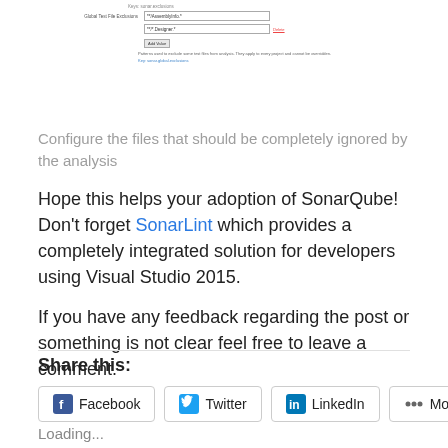[Figure (screenshot): Screenshot of SonarQube global test file exclusions settings panel showing fields '**/AssemblyInfo.*' and '**/*.Designer.*' with a Delete link, an Add Value button, and descriptive text about patterns used to exclude test files from analysis.]
Configure the files that should be completely ignored by the analysis
Hope this helps your adoption of SonarQube!  Don't forget SonarLint which provides a completely integrated solution for developers using Visual Studio 2015.
If you have any feedback regarding the post or something is not clear feel free to leave a comment.
Share this:
Facebook   Twitter   LinkedIn   More
Loading...